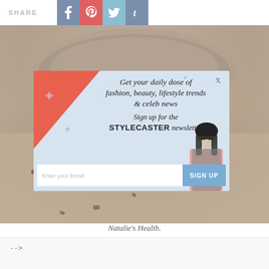SHARE
[Figure (photo): Background photo of a smoothie or drink in a glass jar with scattered chocolate pieces on a sandy/beige surface, blurred]
[Figure (infographic): Newsletter signup modal overlay with red coral corner, light blue background, star decorations, woman figure silhouette, headline text 'Get your daily dose of fashion, beauty, lifestyle trends & celeb news', subtext 'Sign up for the STYLECASTER newsletter', email input field and SIGN UP button]
Natalie's Health.
-->